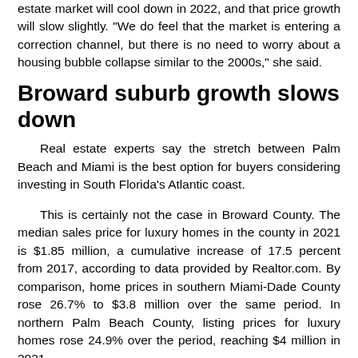estate market will cool down in 2022, and that price growth will slow slightly. "We do feel that the market is entering a correction channel, but there is no need to worry about a housing bubble collapse similar to the 2000s," she said.
Broward suburb growth slows down
Real estate experts say the stretch between Palm Beach and Miami is the best option for buyers considering investing in South Florida's Atlantic coast.
This is certainly not the case in Broward County. The median sales price for luxury homes in the county in 2021 is $1.85 million, a cumulative increase of 17.5 percent from 2017, according to data provided by Realtor.com. By comparison, home prices in southern Miami-Dade County rose 26.7% to $3.8 million over the same period. In northern Palm Beach County, listing prices for luxury homes rose 24.9% over the period, reaching $4 million in 2021.
"These areas are a little different from the traditional luxury market, and they stand out mainly on the slow-paced suburban